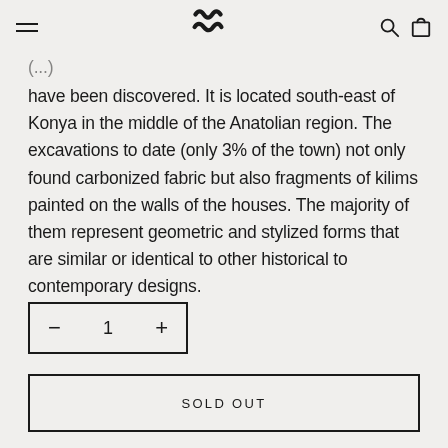Navigation bar with hamburger menu, brand logo, search and cart icons
have been discovered. It is located south-east of Konya in the middle of the Anatolian region. The excavations to date (only 3% of the town) not only found carbonized fabric but also fragments of kilims painted on the walls of the houses. The majority of them represent geometric and stylized forms that are similar or identical to other historical to contemporary designs.
Quantity selector showing: − 1 +
SOLD OUT